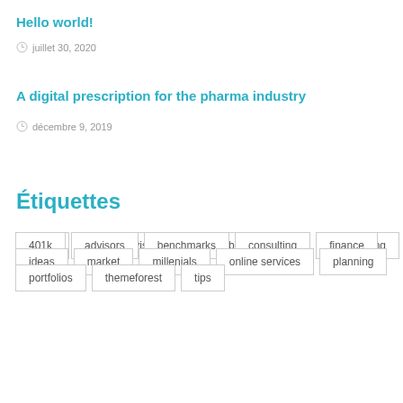Hello world!
juillet 30, 2020
A digital prescription for the pharma industry
décembre 9, 2019
Étiquettes
401k
advisors
benchmarks
consulting
finance
ideas
market
millenials
online services
planning
portfolios
themeforest
tips